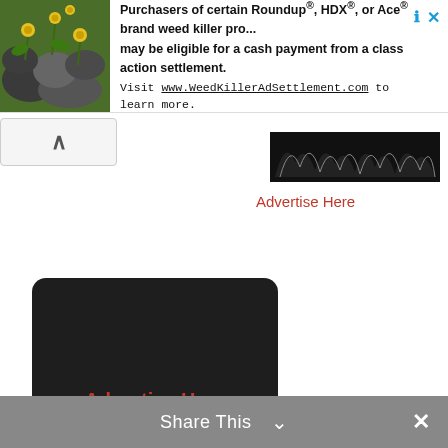[Figure (screenshot): Advertisement banner at top: shows a plant/flower background image on the left, with text 'Purchasers of certain Roundup®, HDX®, or Ace® brand weed killer pro... may be eligible for a cash payment from a class action settlement. Visit www.WeedKillerAdSettlement.com to learn more.' and a close/X button in the top right corner.]
[Figure (screenshot): A collapse/chevron up button (^) on the left side below the banner.]
[Figure (screenshot): A dark jagged/silhouette logo image in the center area below the banner.]
Advertise Here
[Figure (screenshot): A dark rounded rectangle ad placeholder box with 'Advertise Here' text in red/orange in the center.]
Share This ✓ ×